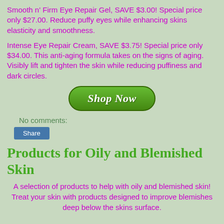Smooth n' Firm Eye Repair Gel, SAVE $3.00! Special price only $27.00. Reduce puffy eyes while enhancing skins elasticity and smoothness.
Intense Eye Repair Cream, SAVE $3.75! Special price only $34.00. This anti-aging formula takes on the signs of aging. Visibly lift and tighten the skin while reducing puffiness and dark circles.
[Figure (other): Green 'Shop Now' button with rounded corners and italic white text]
No comments:
Share
Products for Oily and Blemished Skin
A selection of products to help with oily and blemished skin! Treat your skin with products designed to improve blemishes deep below the skins surface.